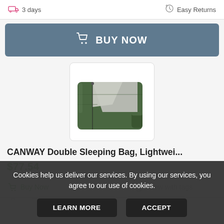3 days   Easy Returns
BUY NOW
[Figure (photo): Green and gray double sleeping bag partially unzipped, shown with a small green stuff sack next to it]
CANWAY Double Sleeping Bag, Lightwei...
$77.54
Buy Now   New with tags
Cookies help us deliver our services. By using our services, you agree to our use of cookies.
LEARN MORE   ACCEPT